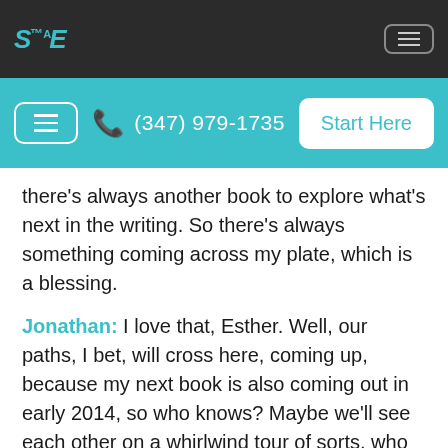SANE logo and navigation bar
[Figure (screenshot): Teal navigation bar with hamburger menu, phone number (347) 979-1735, and Start Here button]
there’s always another book to explore what’s next in the writing. So there’s always something coming across my plate, which is a blessing.
Jonathan: I love that, Esther. Well, our paths, I bet, will cross here, coming up, because my next book is also coming out in early 2014, so who knows? Maybe we’ll see each other on a whirlwind tour of sorts, who knows?
Esther: What is it called?